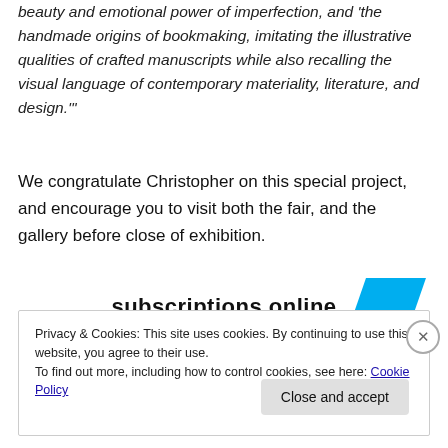beauty and emotional power of imperfection, and 'the handmade origins of bookmaking, imitating the illustrative qualities of crafted manuscripts while also recalling the visual language of contemporary materiality, literature, and design.'"
We congratulate Christopher on this special project, and encourage you to visit both the fair, and the gallery before close of exhibition.
subscriptions online
Privacy & Cookies: This site uses cookies. By continuing to use this website, you agree to their use.
To find out more, including how to control cookies, see here: Cookie Policy
Close and accept